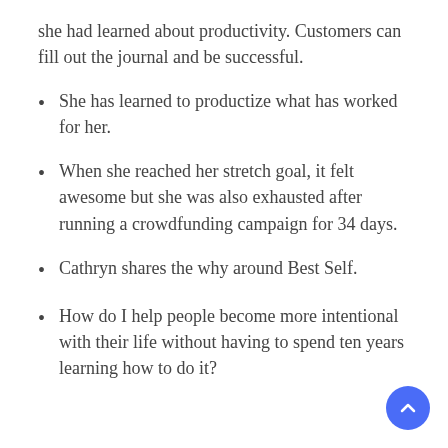she had learned about productivity. Customers can fill out the journal and be successful.
She has learned to productize what has worked for her.
When she reached her stretch goal, it felt awesome but she was also exhausted after running a crowdfunding campaign for 34 days.
Cathryn shares the why around Best Self.
How do I help people become more intentional with their life without having to spend ten years learning how to do it?